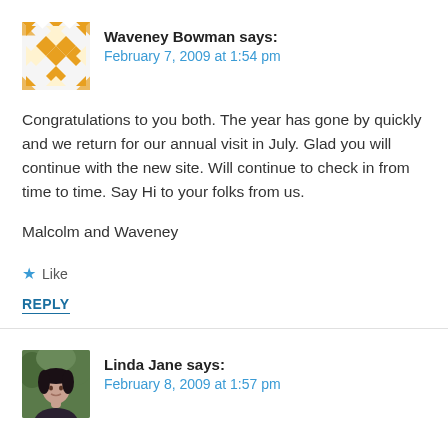[Figure (illustration): Yellow and white quilt-pattern avatar for Waveney Bowman]
Waveney Bowman says:
February 7, 2009 at 1:54 pm
Congratulations to you both. The year has gone by quickly and we return for our annual visit in July. Glad you will continue with the new site. Will continue to check in from time to time. Say Hi to your folks from us.

Malcolm and Waveney
★ Like
REPLY
[Figure (photo): Photo of Linda Jane, a woman with dark hair]
Linda Jane says:
February 8, 2009 at 1:57 pm